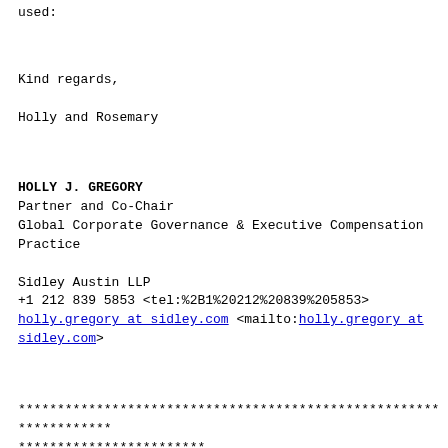used:
Kind regards,

Holly and Rosemary
HOLLY J. GREGORY
Partner and Co-Chair
Global Corporate Governance & Executive Compensation Practice

Sidley Austin LLP
+1 212 839 5853 <tel:%2B1%20212%20839%205853>
holy.gregory at sidley.com <mailto:holly.gregory at sidley.com>
******************************************************************
************************
This e-mail is sent by a law firm and may contain information that is
privileged or confidential.
If you are not the intended recipient, please delete the e-mail and any